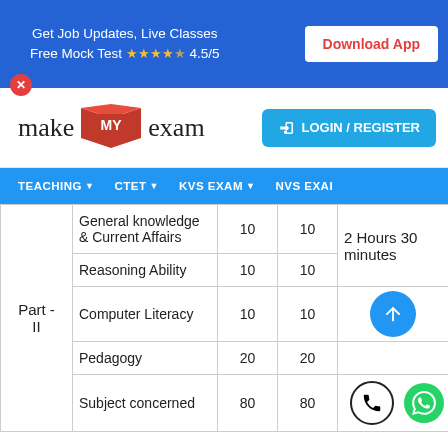Get Job Updates, Live Classes Free Mock Test ⭐⭐⭐⭐½ 4.5/5 | Download App
[Figure (logo): makeMyexam logo with book icon and MY in red box]
LOGIN / REGISTER
TEACHING ▼  CTET ▼  KVS EXAM ▼  NVS EXAM
|  | Subject | No. of Questions | Marks | Duration |
| --- | --- | --- | --- | --- |
| Part - II | General knowledge & Current Affairs | 10 | 10 | 2 Hours 30 minutes |
| Part - II | Reasoning Ability | 10 | 10 | 2 Hours 30 minutes |
| Part - II | Computer Literacy | 10 | 10 |  |
| Part - II | Pedagogy | 20 | 20 |  |
| Part - II | Subject concerned | 80 | 80 |  |